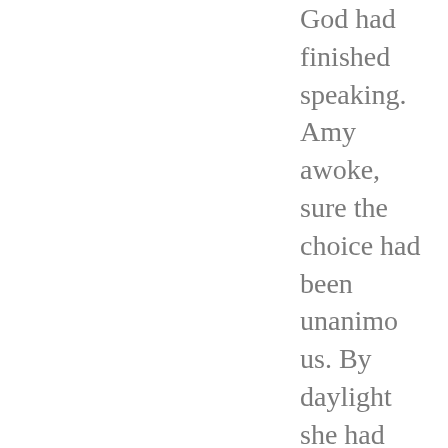God had finished speaking. Amy awoke, sure the choice had been unanimous. By daylight she had decided that, God approving, she had